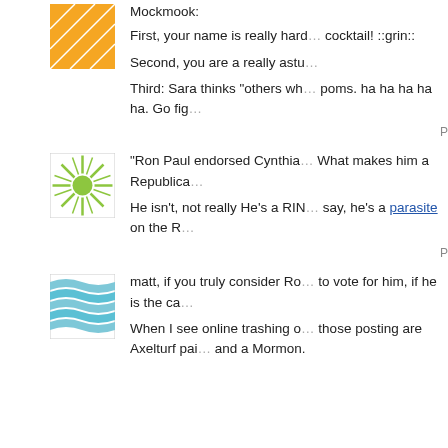[Figure (illustration): Orange geometric avatar icon with white cross-hatch lines]
Mockmook:
First, your name is really hard... cocktail! ::grin::
Second, you are a really astu...
Third: Sara thinks "others wh... poms. ha ha ha ha ha. Go fig...
[Figure (illustration): Green sunburst avatar icon with circular center]
"Ron Paul endorsed Cynthia... What makes him a Republica...
He isn't, not really He's a RIN... say, he's a parasite on the R...
[Figure (illustration): Blue wavy lines avatar icon]
matt, if you truly consider Ro... to vote for him, if he is the ca...
When I see online trashing o... those posting are Axelturf pai... and a Mormon.